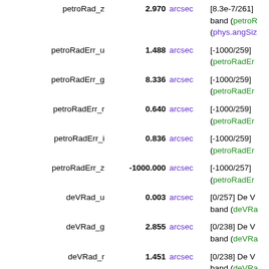| Name | Value | Unit | Description |
| --- | --- | --- | --- |
| petroRad_z | 2.970 | arcsec | [8.3e-7/261] ... band (petroR... (phys.angSiz... |
| petroRadErr_u | 1.488 | arcsec | [-1000/259] ... (petroRadEr... |
| petroRadErr_g | 8.336 | arcsec | [-1000/259] ... (petroRadEr... |
| petroRadErr_r | 0.640 | arcsec | [-1000/259] ... (petroRadEr... |
| petroRadErr_i | 0.836 | arcsec | [-1000/259] ... (petroRadEr... |
| petroRadErr_z | -1000.000 | arcsec | [-1000/257] ... (petroRadEr... |
| deVRad_u | 0.003 | arcsec | [0/257] De V... band (deVRa... |
| deVRad_g | 2.855 | arcsec | [0/238] De V... band (deVRa... |
| deVRad_r | 1.451 | arcsec | [0/238] De V... band (deVRa... |
| deVRad_i | 1.192 | arcsec | [0/232] De V... band (deVRa... |